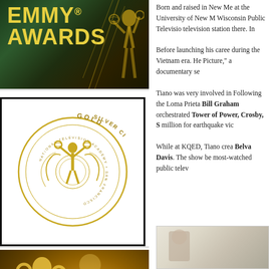[Figure (photo): Emmy Awards banner with gold text on dark green/gold background with Emmy statuette]
[Figure (logo): Gold Silver Circle Emmy logo - San Francisco Chapter of the National Television Academy, circular emblem with Emmy statuette]
[Figure (photo): MEMBERSHIP banner with gold Emmy statuettes on golden bokeh background]
Born and raised in New Me at the University of New M Wisconsin Public Televisio television station there. In
Before launching his caree during the Vietnam era. He Picture," a documentary se
Tiano was very involved in Following the Loma Prieta Bill Graham orchestrated Tower of Power, Crosby, S million for earthquake vic
While at KQED, Tiano crea Belva Davis. The show be most-watched public telev
[Figure (photo): Partial photo at bottom right, appears to show a person]